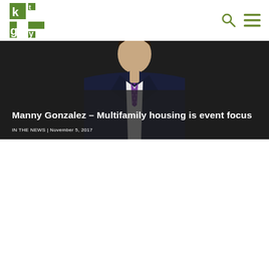[Figure (logo): KTGY logo — green square tiles forming the letters K T G Y]
[Figure (photo): Man in dark suit with purple polka-dot tie, photographed from chest up against dark background]
Manny Gonzalez – Multifamily housing is event focus
IN THE NEWS | November 5, 2017